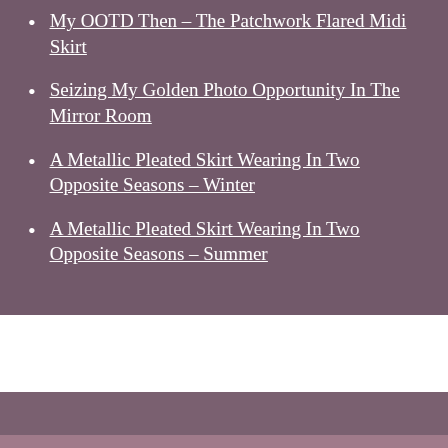My OOTD Then – The Patchwork Flared Midi Skirt
Seizing My Golden Photo Opportunity In The Mirror Room
A Metallic Pleated Skirt Wearing In Two Opposite Seasons – Winter
A Metallic Pleated Skirt Wearing In Two Opposite Seasons – Summer
[Figure (other): Follow vivalaViv button on WordPress widget with teal/cyan background]